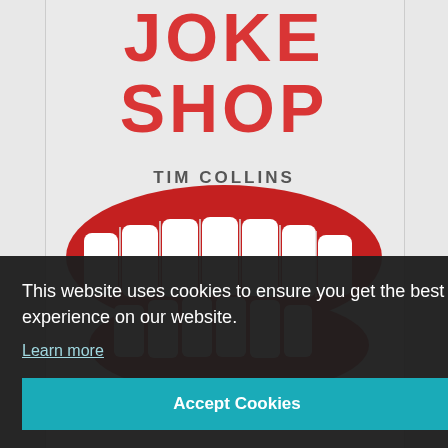[Figure (illustration): Book cover image for 'Joke Shop' by Tim Collins, featuring large red text 'JOKE SHOP' at the top, author name 'TIM COLLINS' below, and a photo of red plastic chattering teeth toy against a light gray background.]
This website uses cookies to ensure you get the best experience on our website.
Learn more
Accept Cookies